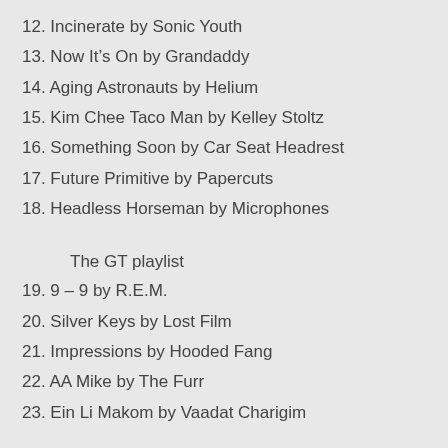12. Incinerate by Sonic Youth
13. Now It's On by Grandaddy
14. Aging Astronauts by Helium
15. Kim Chee Taco Man by Kelley Stoltz
16. Something Soon by Car Seat Headrest
17. Future Primitive by Papercuts
18. Headless Horseman by Microphones
The GT playlist
19. 9 – 9 by R.E.M.
20. Silver Keys by Lost Film
21. Impressions by Hooded Fang
22. AA Mike by The Furr
23. Ein Li Makom by Vaadat Charigim